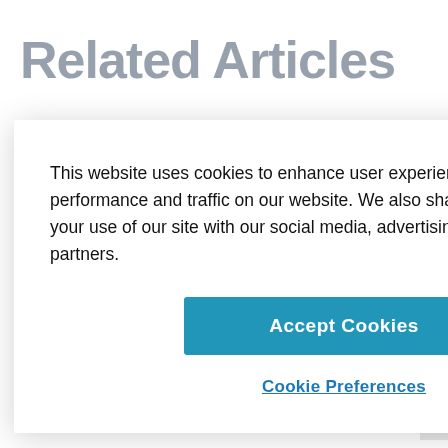Related Articles
This website uses cookies to enhance user experience and to analyze performance and traffic on our website. We also share information about your use of our site with our social media, advertising and analytics partners.
Accept Cookies
Cookie Preferences
ADVERTISEMENT
By proceeding, you agree to our Privacy Policy and Terms of Use.